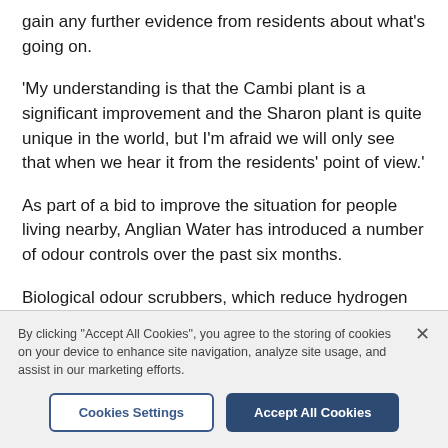gain any further evidence from residents about what's going on.
'My understanding is that the Cambi plant is a significant improvement and the Sharon plant is quite unique in the world, but I'm afraid we will only see that when we hear it from the residents' point of view.'
As part of a bid to improve the situation for people living nearby, Anglian Water has introduced a number of odour controls over the past six months.
Biological odour scrubbers, which reduce hydrogen
By clicking "Accept All Cookies", you agree to the storing of cookies on your device to enhance site navigation, analyze site usage, and assist in our marketing efforts.